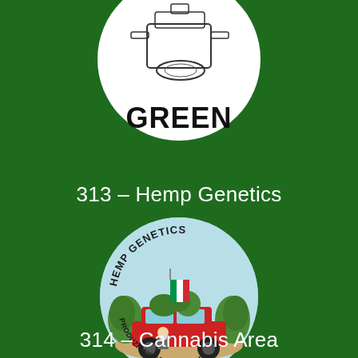[Figure (logo): Partial circular logo with white background showing a printing/rolling machine illustration and the text 'GREEN' in bold black at the bottom, partially cut off]
313 – Hemp Genetics
[Figure (logo): Circular logo for Hemp Genetics showing a red car loaded with cannabis plants and an Italian flag, with text 'HEMP GENETICS' around the top and 'PRODUZIONE ARTIGIANALE' at the bottom, on a light blue background]
314 – Cannabis Area